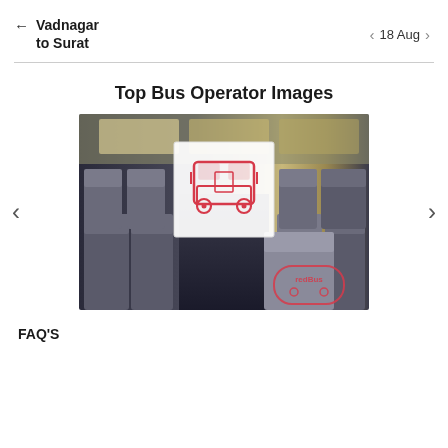Vadnagar to Surat | 18 Aug
Top Bus Operator Images
[Figure (photo): Bus interior photo showing rows of grey seats with windows, overlaid with a red bus icon on white background and redBus logo in bottom right corner]
FAQ'S